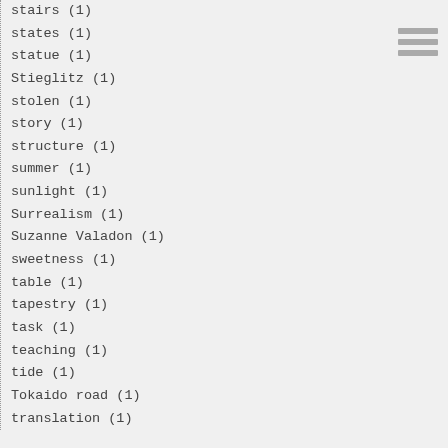stairs (1)
states (1)
statue (1)
Stieglitz (1)
stolen (1)
story (1)
structure (1)
summer (1)
sunlight (1)
Surrealism (1)
Suzanne Valadon (1)
sweetness (1)
table (1)
tapestry (1)
task (1)
teaching (1)
tide (1)
Tokaido road (1)
translation (1)